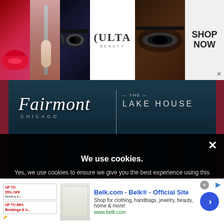[Figure (screenshot): Ulta Beauty banner advertisement with makeup images (lips, brush, eye) and Ulta Beauty logo with SHOP NOW call to action]
[Figure (screenshot): Fairmont Chicago Lake House hotel advertisement banner with script Fairmont logo, CHICAGO text, divider line, and LAKE HOUSE text]
[Figure (screenshot): CELEBRATE DIVERSITY! banner advertisement with colorful globe/earth imagery and teal/green gradient background]
[Figure (screenshot): Cookie consent overlay popup with title 'We use cookies.' and text about cookies policy]
[Figure (screenshot): Belk.com display advertisement at bottom with promotional text, product image, and blue arrow button]